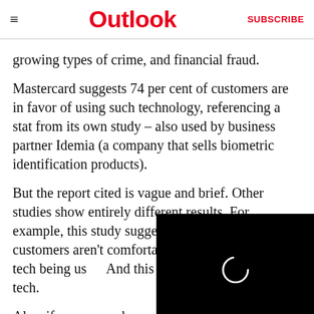Outlook | SUBSCRIBE
growing types of crime, and financial fraud.
Mastercard suggests 74 per cent of customers are in favor of using such technology, referencing a stat from its own study – also used by business partner Idemia (a company that sells biometric identification products).
But the report cited is vague and brief. Other studies show entirely different results. For example, this study suggests 69 per cent of customers aren't comfortable with face recognition tech being us... And this one shows only tech.
[Figure (other): Black video overlay with a loading spinner ring in the center]
Also, if consumers knew